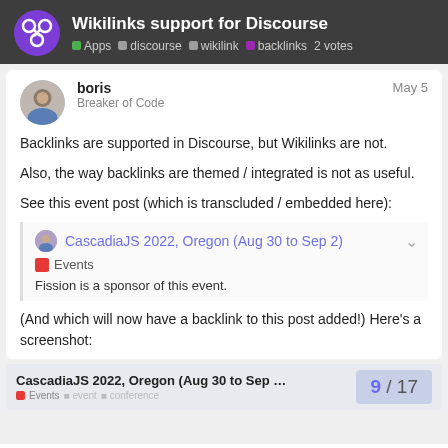Wikilinks support for Discourse | Apps discourse wikilink backlinks 2 votes
boris
Breaker of Code
May 5
Backlinks are supported in Discourse, but Wikilinks are not.
Also, the way backlinks are themed / integrated is not as useful.
See this event post (which is transcluded / embedded here):
CascadiaJS 2022, Oregon (Aug 30 to Sep 2)
Events
Fission is a sponsor of this event.
(And which will now have a backlink to this post added!) Here's a screenshot:
[Figure (screenshot): Screenshot preview of CascadiaJS 2022, Oregon (Aug 30 to Sep ...) with Events tag]
9 / 17